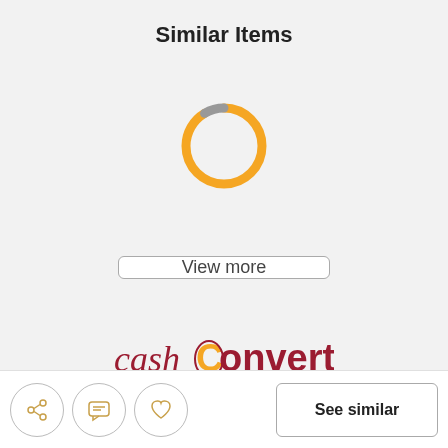Similar Items
[Figure (other): Circular loading spinner with orange/yellow arc and small gray segment at bottom right]
[Figure (other): View more button - rectangular button with border]
[Figure (logo): Cash Converters logo - 'cash' in dark red script, 'converters' in dark red bold with orange 'C']
[Figure (other): Bottom toolbar with share icon, chat icon, heart/favorite icon (all in circles), and See similar button]